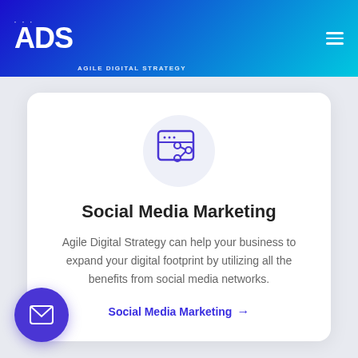ADS — Agile Digital Strategy
[Figure (illustration): Browser window icon with share/network symbol in purple, on a light circular background]
Social Media Marketing
Agile Digital Strategy can help your business to expand your digital footprint by utilizing all the benefits from social media networks.
Social Media Marketing →